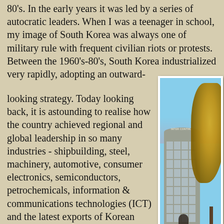80's. In the early years it was led by a series of autocratic leaders. When I was a teenager in school, my image of South Korea was always one of military rule with frequent civilian riots or protests. Between the 1960's-80's, South Korea industrialized very rapidly, adopting an outward-looking strategy. Today looking back, it is astounding to realise how the country achieved regional and global leadership in so many industries - shipbuilding, steel, machinery, automotive, consumer electronics, semiconductors, petrochemicals, information & communications technologies (ICT) and the latest exports of Korean music and television drama series (the so called current "Korean Wave") ! I stayed at the COEX Intercontinental, a very
[Figure (photo): Photo of the COEX Intercontinental hotel building with a golden-leafed ginkgo tree in the foreground against a blue sky]